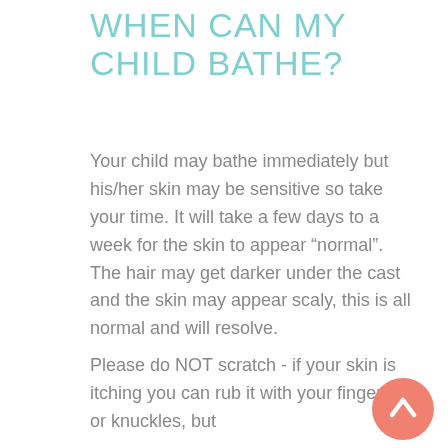WHEN CAN MY CHILD BATHE?
Your child may bathe immediately but his/her skin may be sensitive so take your time. It will take a few days to a week for the skin to appear “normal”. The hair may get darker under the cast and the skin may appear scaly, this is all normal and will resolve.
Please do NOT scratch - if your skin is itching you can rub it with your fingertips or knuckles, but
[Figure (other): Coral/salmon colored circular scroll-to-top button with upward-pointing chevron arrow icon]